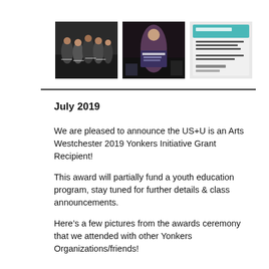[Figure (photo): Three photos side by side from an awards ceremony event]
July 2019
We are pleased to announce the US+U is an Arts Westchester 2019 Yonkers Initiative Grant Recipient!
This award will partially fund a youth education program, stay tuned for further details & class announcements.
Here’s a few pictures from the awards ceremony that we attended with other Yonkers Organizations/friends!